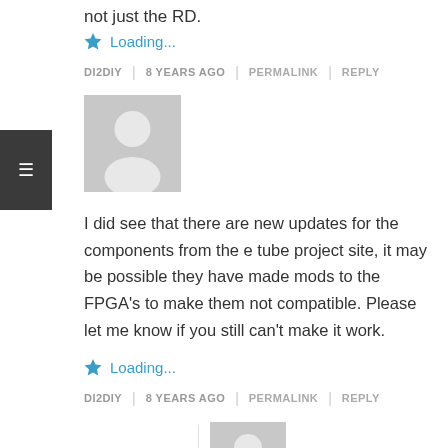not just the RD.
Loading...
DI2DIY | 8 YEARS AGO | PERMALINK | REPLY
[Figure (illustration): Gray avatar placeholder image of a person silhouette]
I did see that there are new updates for the components from the e tube project site, it may be possible they have made mods to the FPGA's to make them not compatible. Please let me know if you still can't make it work.
Loading...
DI2DIY | 8 YEARS AGO | PERMALINK | REPLY
[Figure (illustration): Gray avatar placeholder image of a person silhouette, smaller, indented]
Tried your first suggestion with the battery, no go. All components were updated with the most